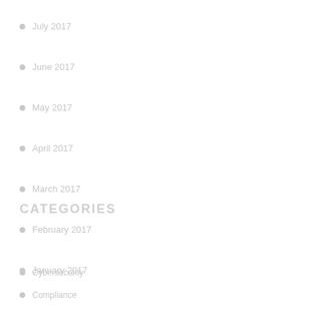July 2017
June 2017
May 2017
April 2017
March 2017
February 2017
January 2017
Categories
Cybersecurity
Compliance